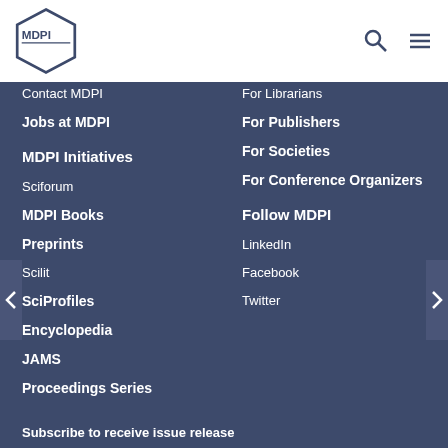MDPI
Contact MDPI
Jobs at MDPI
For Librarians
For Publishers
For Societies
For Conference Organizers
MDPI Initiatives
Sciforum
MDPI Books
Preprints
Scilit
SciProfiles
Encyclopedia
JAMS
Proceedings Series
Follow MDPI
LinkedIn
Facebook
Twitter
Subscribe to receive issue release